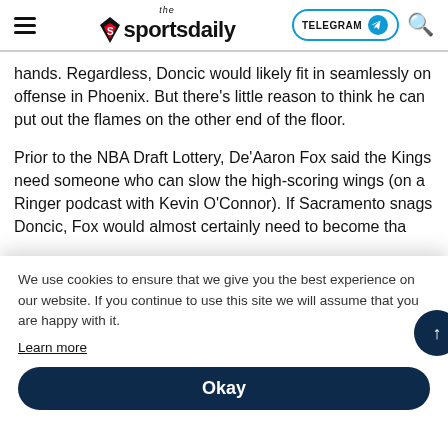the sportsdaily — TELEGRAM — Search
hands. Regardless, Doncic would likely fit in seamlessly on offense in Phoenix. But there's little reason to think he can put out the flames on the other end of the floor.
Prior to the NBA Draft Lottery, De'Aaron Fox said the Kings need someone who can slow the high-scoring wings (on a Ringer podcast with Kevin O'Connor). If Sacramento snags Doncic, Fox would almost certainly need to become tha... Sp... Ne... the... es... re...
We use cookies to ensure that we give you the best experience on our website. If you continue to use this site we will assume that you are happy with it.
Learn more
Okay